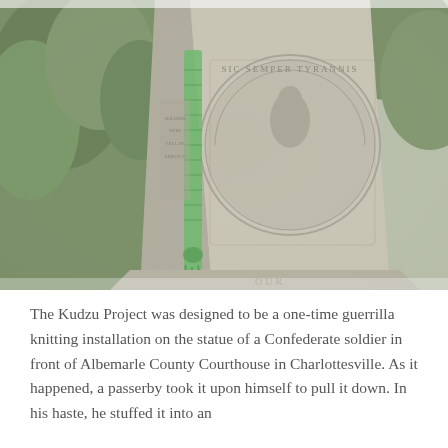[Figure (photo): Close-up photograph of a stone Confederate monument or obelisk with a circular seal reading 'Sic Semper Tyrannis' and a green knitted/crocheted piece hanging from the left edge of the monument. Trees are visible in the background.]
The Kudzu Project was designed to be a one-time guerrilla knitting installation on the statue of a Confederate soldier in front of Albemarle County Courthouse in Charlottesville. As it happened, a passerby took it upon himself to pull it down. In his haste, he stuffed it into an